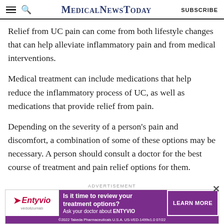MedicalNewsToday
Relief from UC pain can come from both lifestyle changes that can help alleviate inflammatory pain and from medical interventions.
Medical treatment can include medications that help reduce the inflammatory process of UC, as well as medications that provide relief from pain.
Depending on the severity of a person's pain and discomfort, a combination of some of these options may be necessary. A person should consult a doctor for the best course of treatment and pain relief options for them.
[Figure (infographic): Advertisement banner for Entyvio (vedolizumab) by Takeda Pharmaceuticals. Purple banner with text 'Is it time to review your treatment options? Ask your doctor about ENTYVIO' with a LEARN MORE button. Footer: ©2022 Takeda Pharmaceuticals U.S.A. US-VED-1499v1.0 07/22]